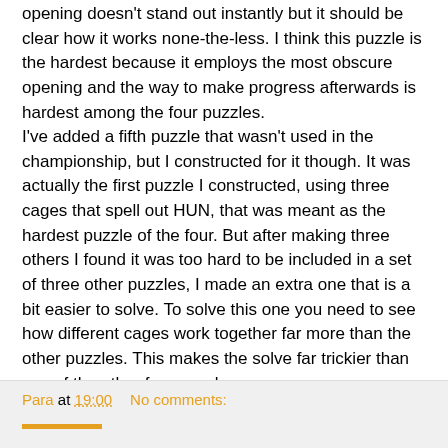opening doesn't stand out instantly but it should be clear how it works none-the-less. I think this puzzle is the hardest because it employs the most obscure opening and the way to make progress afterwards is hardest among the four puzzles.
I've added a fifth puzzle that wasn't used in the championship, but I constructed for it though. It was actually the first puzzle I constructed, using three cages that spell out HUN, that was meant as the hardest puzzle of the four. But after making three others I found it was too hard to be included in a set of three other puzzles, I made an extra one that is a bit easier to solve. To solve this one you need to see how different cages work together far more than the other puzzles. This makes the solve far trickier than any of the other four puzzles.
Rules for Star Battle
Puzzles can be found below.
Para at 19:00    No comments: